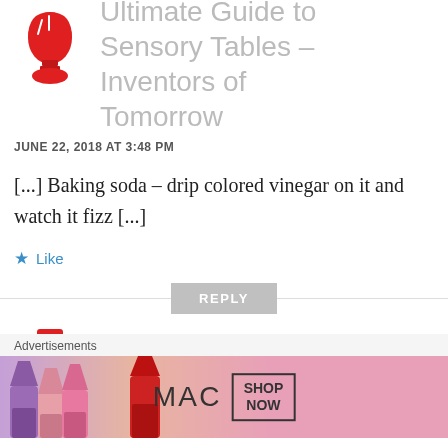[Figure (logo): Red lightbulb icon with red oval base]
Ultimate Guide to Sensory Tables – Inventors of Tomorrow
JUNE 22, 2018 AT 3:48 PM
[...] Baking soda – drip colored vinegar on it and watch it fizz [...]
Like
REPLY
[Figure (logo): Red icon (partial) for Quick & Easy STEM]
Quick & Easy STEM
Advertisements
[Figure (photo): MAC cosmetics advertisement showing lipsticks and SHOP NOW button]